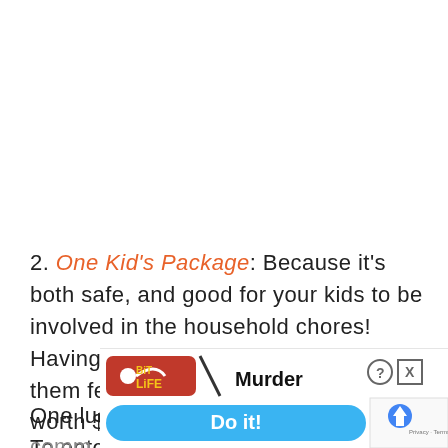2. One Kid's Package: Because it's both safe, and good for your kids to be involved in the household chores! Having their own set of cloths will help them feel involved. This package is worth $79.99
One lucky person gets both of these! To enter, le... comm... have...
[Figure (screenshot): BitLife mobile game advertisement banner with red logo, 'Murder Do it!' text and blue button, overlaid on the page]